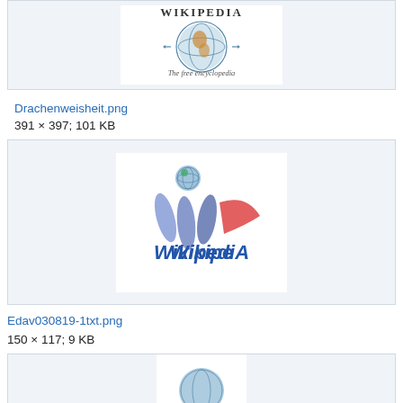[Figure (logo): Wikipedia globe logo with 'WIKIPEDIA' text and 'The free encyclopedia' subtitle (top partial view)]
Drachenweisheit.png
391 × 397; 101 KB
[Figure (logo): WikipediA stylized logo with blue teardrop shapes and red wing shape, globe icon, text 'WikipediA']
Edav030819-1txt.png
150 × 117; 9 KB
[Figure (logo): Partial Wikipedia logo (bottom of page, cut off)]